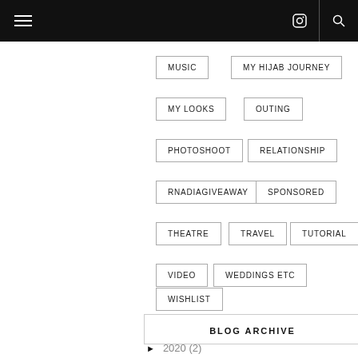Navigation bar with hamburger menu, Instagram icon, and search icon
MUSIC
MY HIJAB JOURNEY
MY LOOKS
OUTING
PHOTOSHOOT
RELATIONSHIP
RNADIAGIVEAWAY
SPONSORED
THEATRE
TRAVEL
TUTORIAL
VIDEO
WEDDINGS ETC
WISHLIST
BLOG ARCHIVE
► 2020 (2)